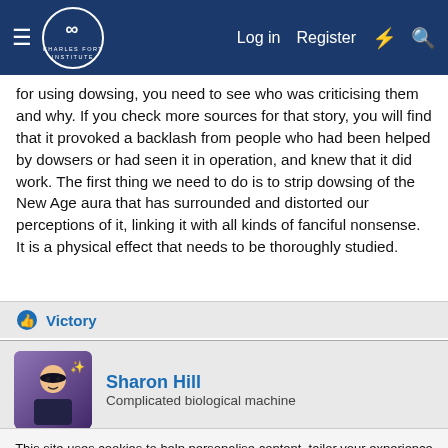Charles Fort Institute — Log in | Register
for using dowsing, you need to see who was criticising them and why. If you check more sources for that story, you will find that it provoked a backlash from people who had been helped by dowsers or had seen it in operation, and knew that it did work. The first thing we need to do is to strip dowsing of the New Age aura that has surrounded and distorted our perceptions of it, linking it with all kinds of fanciful nonsense. It is a physical effect that needs to be thoroughly studied.
Victory
Sharon Hill
Complicated biological machine
This site uses cookies to help personalise content, tailor your experience and to keep you logged in if you register.
By continuing to use this site, you are consenting to our use of cookies.